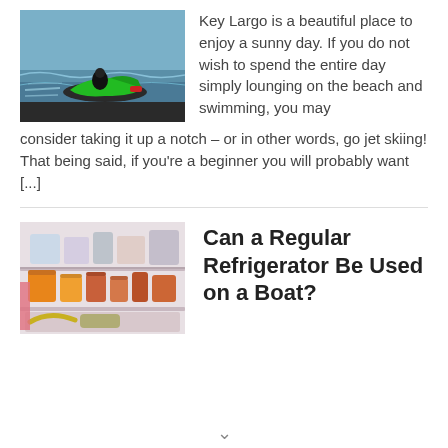[Figure (photo): A person riding a green jet ski on water near a beach]
Key Largo is a beautiful place to enjoy a sunny day. If you do not wish to spend the entire day simply lounging on the beach and swimming, you may consider taking it up a notch – or in other words, go jet skiing! That being said, if you're a beginner you will probably want [...]
[Figure (photo): Inside of a refrigerator showing various food containers and items on shelves]
Can a Regular Refrigerator Be Used on a Boat?